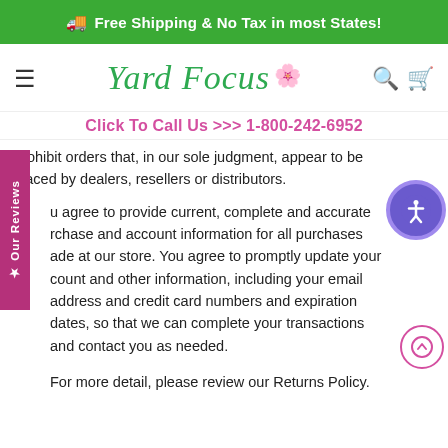Free Shipping & No Tax in most States!
[Figure (logo): Yard Focus logo with hibiscus flower, green cursive text]
Click To Call Us >>> 1-800-242-6952
prohibit orders that, in our sole judgment, appear to be placed by dealers, resellers or distributors.
You agree to provide current, complete and accurate purchase and account information for all purchases made at our store. You agree to promptly update your account and other information, including your email address and credit card numbers and expiration dates so that we can complete your transactions and contact you as needed.
For more detail, please review our Returns Policy.